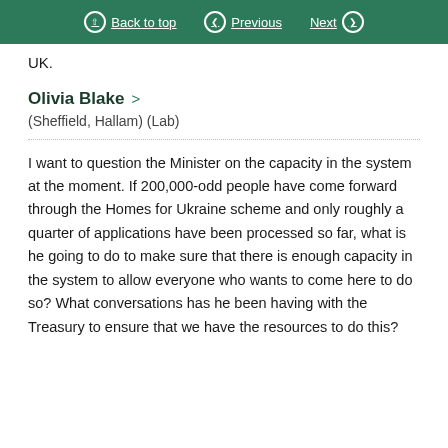Back to top  Previous  Next
UK.
Olivia Blake
(Sheffield, Hallam) (Lab)
I want to question the Minister on the capacity in the system at the moment. If 200,000-odd people have come forward through the Homes for Ukraine scheme and only roughly a quarter of applications have been processed so far, what is he going to do to make sure that there is enough capacity in the system to allow everyone who wants to come here to do so? What conversations has he been having with the Treasury to ensure that we have the resources to do this?